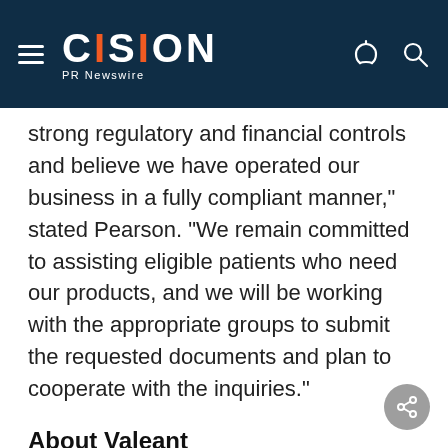CISION PR Newswire
strong regulatory and financial controls and believe we have operated our business in a fully compliant manner," stated Pearson. "We remain committed to assisting eligible patients who need our products, and we will be working with the appropriate groups to submit the requested documents and plan to cooperate with the inquiries."
About Valeant
Valeant Pharmaceuticals International, Inc. (NYSE/TSX:VRX) is a multinational specialty pharmaceutical company that develops, manufactures and markets a broad range of